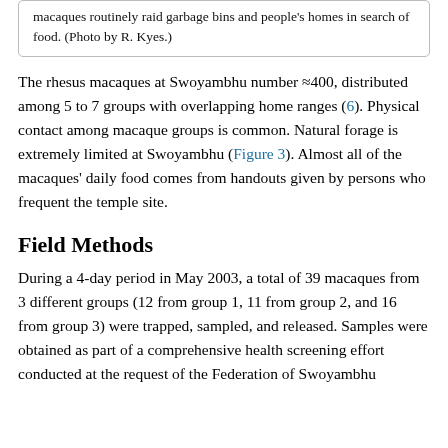macaques routinely raid garbage bins and people's homes in search of food. (Photo by R. Kyes.)
The rhesus macaques at Swoyambhu number ≈400, distributed among 5 to 7 groups with overlapping home ranges (6). Physical contact among macaque groups is common. Natural forage is extremely limited at Swoyambhu (Figure 3). Almost all of the macaques' daily food comes from handouts given by persons who frequent the temple site.
Field Methods
During a 4-day period in May 2003, a total of 39 macaques from 3 different groups (12 from group 1, 11 from group 2, and 16 from group 3) were trapped, sampled, and released. Samples were obtained as part of a comprehensive health screening effort conducted at the request of the Federation of Swoyambhu